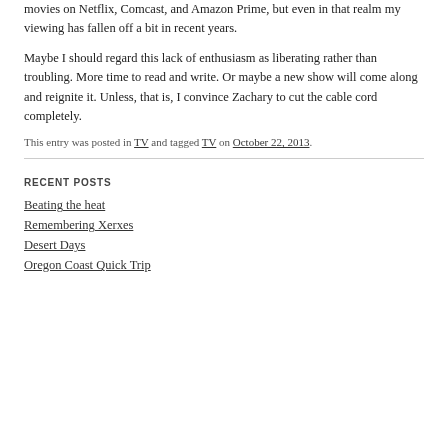movies on Netflix, Comcast, and Amazon Prime, but even in that realm my viewing has fallen off a bit in recent years.
Maybe I should regard this lack of enthusiasm as liberating rather than troubling. More time to read and write. Or maybe a new show will come along and reignite it. Unless, that is, I convince Zachary to cut the cable cord completely.
This entry was posted in TV and tagged TV on October 22, 2013.
RECENT POSTS
Beating the heat
Remembering Xerxes
Desert Days
Oregon Coast Quick Trip